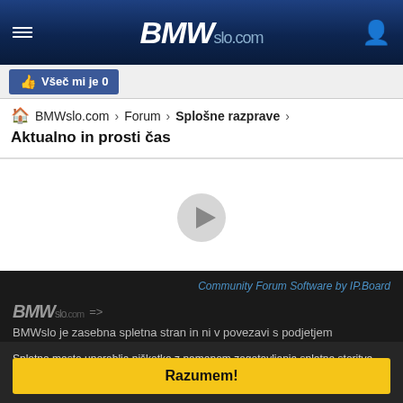BMWslo.com
Všeč mi je 0
BMWslo.com › Forum › Splošne razprave › Aktualno in prosti čas
[Figure (other): Play button icon in white content area]
Community Forum Software by IP.Board
[Figure (logo): BMWslo.com footer logo with arrow]
BMWslo je zasebna spletna stran in ni v povezavi s podjetjem
Spletno mesto uporablja piškotke z namenom zagotavljanja spletne storitve, oglasnih sistemov in funkcionalnosti, ki jih brez piškotkov ne bi mogli nuditi. Z obiskom in uporabo spletnega mesta soglašate s piškotki. - Več informacij
Razumem!